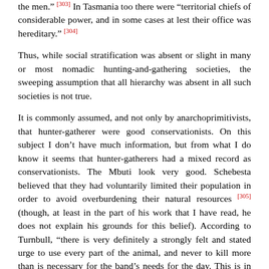the men." [303] In Tasmania too there were "territorial chiefs of considerable power, and in some cases at lest their office was hereditary." [304]
Thus, while social stratification was absent or slight in many or most nomadic hunting-and-gathering societies, the sweeping assumption that all hierarchy was absent in all such societies is not true.
It is commonly assumed, and not only by anarchoprimitivists, that hunter-gatherer were good conservationists. On this subject I don't have much information, but from what I do know it seems that hunter-gatherers had a mixed record as conservationists. The Mbuti look very good. Schebesta believed that they had voluntarily limited their population in order to avoid overburdening their natural resources [305] (though, at least in the part of his work that I have read, he does not explain his grounds for this belief). According to Turnbull, "there is very definitely a strongly felt and stated urge to use every part of the animal, and never to kill more than is necessary for the band's needs for the day. This is in fact may be one reason why the Mbuti are so reluctant to kill an excess of game and preserve it for exchange with the villagers. [306]
Turnbull also states that "in the view of mammalogists such as Van